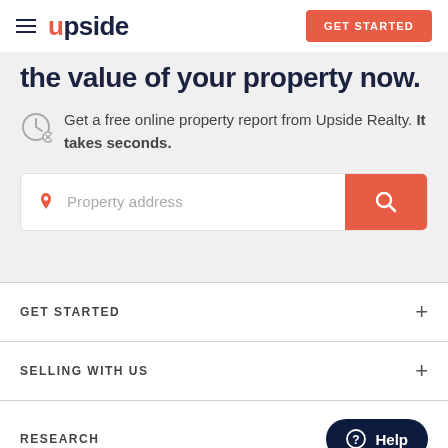upside — GET STARTED
the value of your property now.
Get a free online property report from Upside Realty. It takes seconds.
[Figure (screenshot): Search input box with property address placeholder and red search button]
GET STARTED
SELLING WITH US
RESEARCH